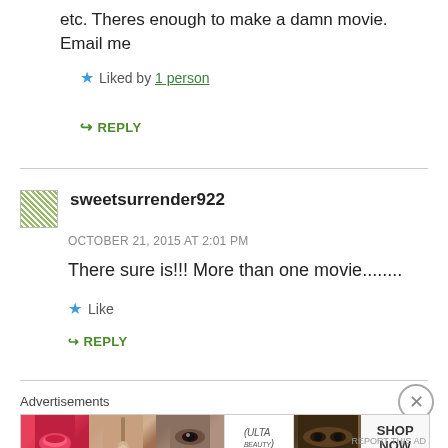etc. Theres enough to make a damn movie. Email me
★ Liked by 1 person
↳ REPLY
sweetsurrender922
OCTOBER 21, 2015 AT 2:01 PM
There sure is!!! More than one movie........
★ Like
↳ REPLY
Advertisements
[Figure (photo): Ulta Beauty advertisement banner with makeup images (lips, brush, eye, Ulta logo, smoky eyes) and SHOP NOW text]